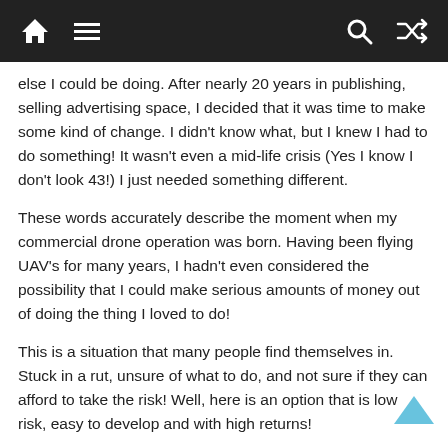Navigation bar with home, menu, search, and shuffle icons
else I could be doing. After nearly 20 years in publishing, selling advertising space, I decided that it was time to make some kind of change. I didn't know what, but I knew I had to do something! It wasn't even a mid-life crisis (Yes I know I don't look 43!) I just needed something different.
These words accurately describe the moment when my commercial drone operation was born. Having been flying UAV's for many years, I hadn't even considered the possibility that I could make serious amounts of money out of doing the thing I loved to do!
This is a situation that many people find themselves in. Stuck in a rut, unsure of what to do, and not sure if they can afford to take the risk! Well, here is an option that is low risk, easy to develop and with high returns!